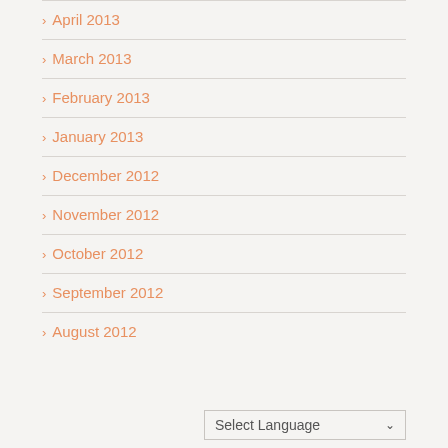April 2013
March 2013
February 2013
January 2013
December 2012
November 2012
October 2012
September 2012
August 2012
Select Language